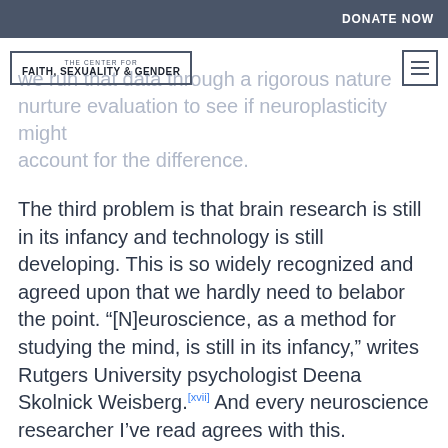DONATE NOW
[Figure (logo): The Center for Faith, Sexuality & Gender logo in a bordered box]
we run that data through a rigorous nature nurture evaluation to see if neuroplasticity might account for the difference.
The third problem is that brain research is still in its infancy and technology is still developing. This is so widely recognized and agreed upon that we hardly need to belabor the point. “[N]euroscience, as a method for studying the mind, is still in its infancy,” writes Rutgers University psychologist Deena Skolnick Weisberg.[xvii] And every neuroscience researcher I’ve read agrees with this. Unfortunately, pop culture and some media reports never seem to get the memo, as